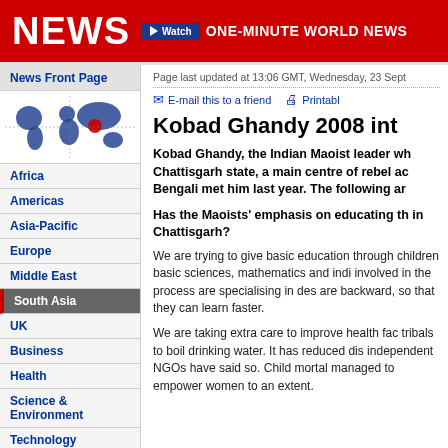NEWS | Watch ONE-MINUTE WORLD NEWS
News Front Page
[Figure (map): World map with South Asia highlighted in red]
Africa
Americas
Asia-Pacific
Europe
Middle East
South Asia
UK
Business
Health
Science & Environment
Technology
Entertainment
Also in the news
Video and Audio
Page last updated at 13:06 GMT, Wednesday, 23 Sept
E-mail this to a friend    Printable
Kobad Ghandy 2008 int
Kobad Ghandy, the Indian Maoist leader who was in Chattisgarh state, a main centre of rebel activity. Bengali met him last year. The following are...
Has the Maoists' emphasis on educating the people in Chattisgarh?
We are trying to give basic education through children basic sciences, mathematics and indigenous involved in the process are specialising in designing are backward, so that they can learn faster.
We are taking extra care to improve health facilities tribals to boil drinking water. It has reduced disease. independent NGOs have said so. Child mortality managed to empower women to an extent.